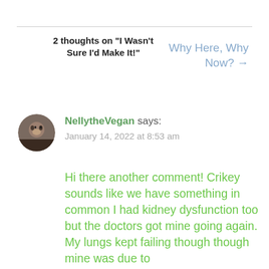2 thoughts on “I Wasn’t Sure I’d Make It!”
Why Here, Why Now? →
NellytheVegan says:
January 14, 2022 at 8:53 am
Hi there another comment! Crikey sounds like we have something in common I had kidney dysfunction too but the doctors got mine going again. My lungs kept failing though though mine was due to